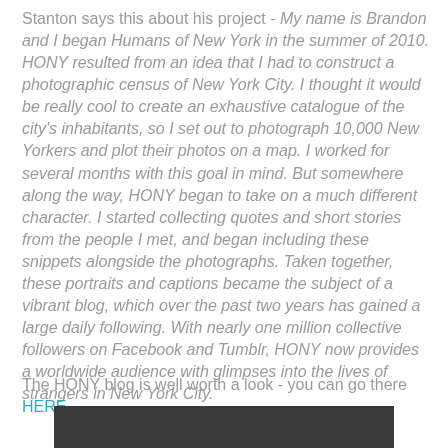Stanton says this about his project - My name is Brandon and I began Humans of New York in the summer of 2010. HONY resulted from an idea that I had to construct a photographic census of New York City. I thought it would be really cool to create an exhaustive catalogue of the city's inhabitants, so I set out to photograph 10,000 New Yorkers and plot their photos on a map. I worked for several months with this goal in mind. But somewhere along the way, HONY began to take on a much different character. I started collecting quotes and short stories from the people I met, and began including these snippets alongside the photographs. Taken together, these portraits and captions became the subject of a vibrant blog, which over the past two years has gained a large daily following. With nearly one million collective followers on Facebook and Tumblr, HONY now provides a worldwide audience with glimpses into the lives of strangers in New York City.
The HONY blog is well worth a look - you can go there HERE.
[Figure (photo): Partial photo strip at bottom of page showing a dark image]